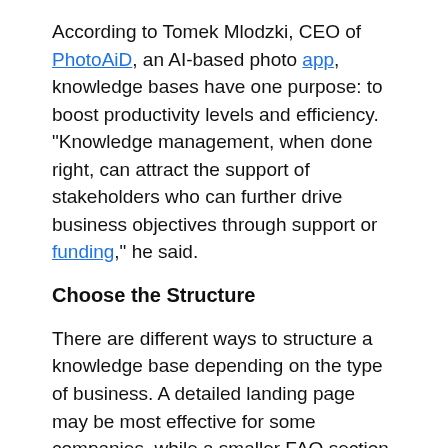According to Tomek Mlodzki, CEO of PhotoAiD, an AI-based photo app, knowledge bases have one purpose: to boost productivity levels and efficiency. "Knowledge management, when done right, can attract the support of stakeholders who can further drive business objectives through support or funding," he said.
Choose the Structure
There are different ways to structure a knowledge base depending on the type of business. A detailed landing page may be most effective for some companies, while a smaller FAQ section may suffice for others.